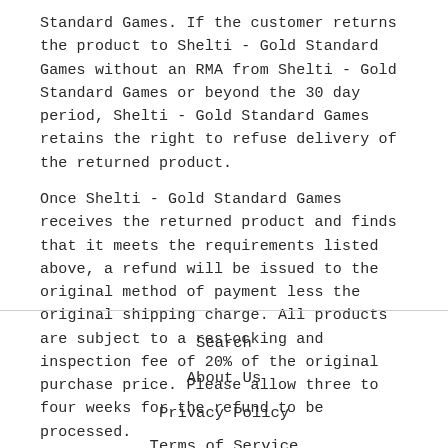Standard Games. If the customer returns the product to Shelti - Gold Standard Games without an RMA from Shelti - Gold Standard Games or beyond the 30 day period, Shelti - Gold Standard Games retains the right to refuse delivery of the returned product.
Once Shelti - Gold Standard Games receives the returned product and finds that it meets the requirements listed above, a refund will be issued to the original method of payment less the original shipping charge. All products are subject to a restocking and inspection fee of 20% of the original purchase price. Please allow three to four weeks for the refund to be processed.
Search
About Us
Privacy Policy
Terms of Service